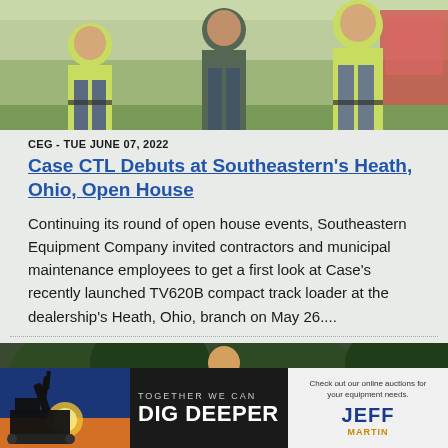[Figure (photo): Three people in yellow/green high-visibility shirts standing outdoors]
CEG - TUE JUNE 07, 2022
Case CTL Debuts at Southeastern's Heath, Ohio, Open House
Continuing its round of open house events, Southeastern Equipment Company invited contractors and municipal maintenance employees to get a first look at Case's recently launched TV620B compact track loader at the dealership's Heath, Ohio, branch on May 26....
[Figure (photo): Person outdoors near equipment with trees in background]
[Figure (photo): Advertisement banner: Together We Can Dig Deeper with excavator image and Jeff Martin Auctioneers logo]